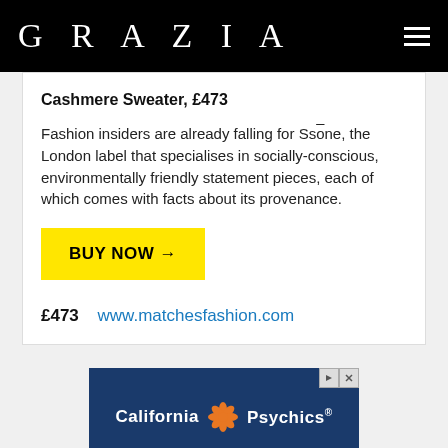GRAZIA
Cashmere Sweater, £473
Fashion insiders are already falling for Ssōne, the London label that specialises in socially-conscious, environmentally friendly statement pieces, each of which comes with facts about its provenance.
BUY NOW →
£473  www.matchesfashion.com
[Figure (screenshot): California Psychics advertisement banner with dark blue background, orange flower graphic, and white text.]